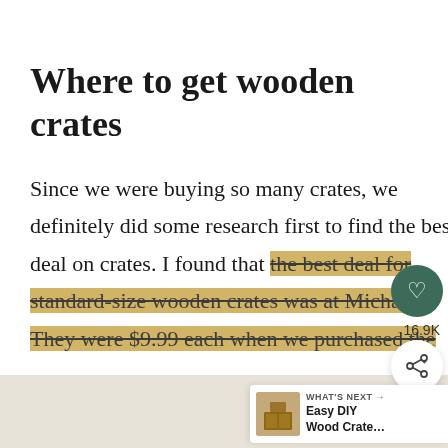Where to get wooden crates
Since we were buying so many crates, we definitely did some research first to find the best deal on crates. I found that the best deal for standard-size wooden crates was at Michaels. They were $9.99 each when we purchased the
Supplies for wooden crate